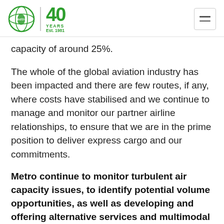metro | 40 YEARS Est. 1981
capacity of around 25%.
The whole of the global aviation industry has been impacted and there are few routes, if any, where costs have stabilised and we continue to manage and monitor our partner airline relationships, to ensure that we are in the prime position to deliver express cargo and our commitments.
Metro continue to monitor turbulent air capacity issues, to identify potential volume opportunities, as well as developing and offering alternative services and multimodal services to ensure that the best options are made available to meet deadlines and expectations.